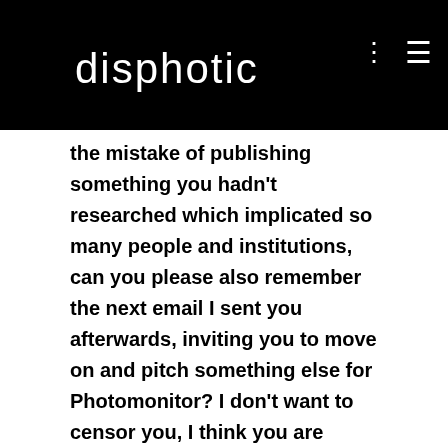disphotic
the mistake of publishing something you hadn't researched which implicated so many people and institutions, can you please also remember the next email I sent you afterwards, inviting you to move on and pitch something else for Photomonitor? I don't want to censor you, I think you are clearly a talented professional, whom I had wanted to engage on other topics, but please, do take advice that was meant with goodwill, told to you on the phone, that you should have done the journalistic homework before putting potentially accusatory remarks in print or online,